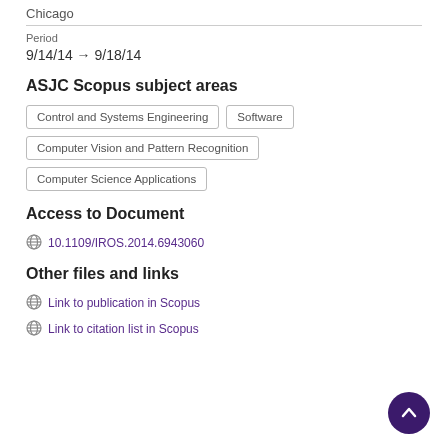Chicago
Period
9/14/14 → 9/18/14
ASJC Scopus subject areas
Control and Systems Engineering
Software
Computer Vision and Pattern Recognition
Computer Science Applications
Access to Document
10.1109/IROS.2014.6943060
Other files and links
Link to publication in Scopus
Link to citation list in Scopus